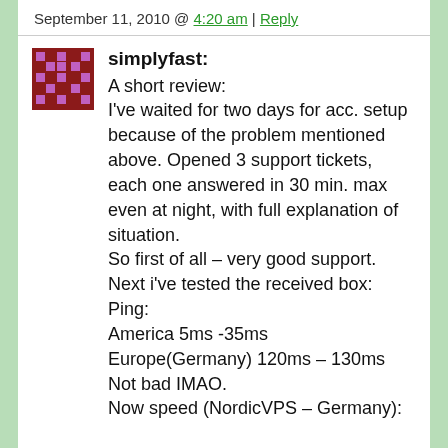September 11, 2010 @ 4:20 am | Reply
[Figure (illustration): Pixel art avatar for user simplyfast — dark red and purple blocky character on white background]
simplyfast: A short review:
I've waited for two days for acc. setup because of the problem mentioned above. Opened 3 support tickets, each one answered in 30 min. max even at night, with full explanation of situation.
So first of all – very good support.

Next i've tested the received box:

Ping:
America 5ms -35ms
Europe(Germany) 120ms – 130ms

Not bad IMAO.

Now speed (NordicVPS – Germany):